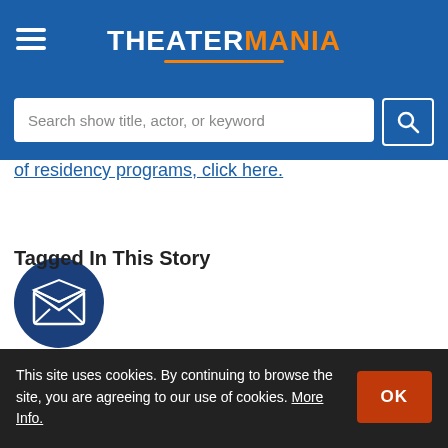THEATERMANIA
Search show title, actor, or keyword
of residency programs, click here.
[Figure (illustration): Dark blue circle with white envelope/mail icon]
This site uses cookies. By continuing to browse the site, you are agreeing to our use of cookies. More Info.
Tagged In This Story